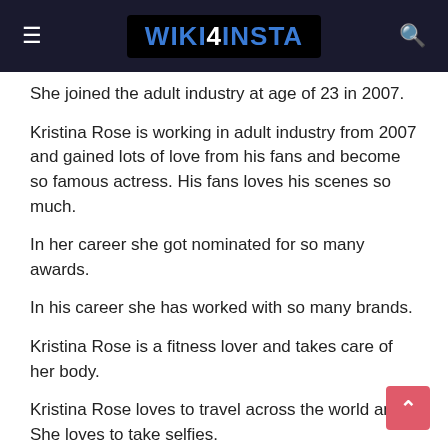WIKI4INSTA
She joined the adult industry at age of 23 in 2007.
Kristina Rose is working in adult industry from 2007 and gained lots of love from his fans and become so famous actress. His fans loves his scenes so much.
In her career she got nominated for so many awards.
In his career she has worked with so many brands.
Kristina Rose is a fitness lover and takes care of her body.
Kristina Rose loves to travel across the world and She loves to take selfies.
Kristina Rose also owns a Onlyfans account where she is uploading content for his true fans. She has 900+ Posts and gained 35k+ likes. Her Onlyfans subscription fees are 5$ per